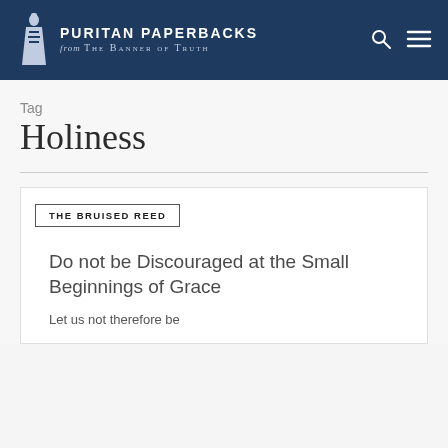PURITAN PAPERBACKS from The Banner of Truth
Tag
Holiness
THE BRUISED REED
Do not be Discouraged at the Small Beginnings of Grace
Let us not therefore be